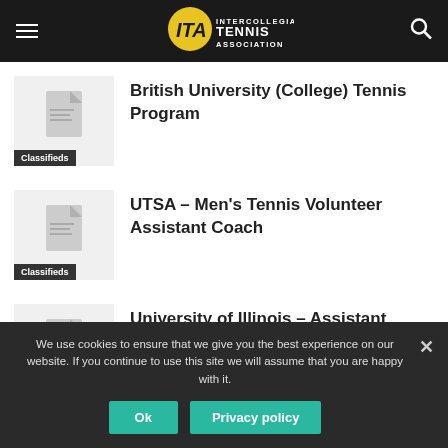[Figure (logo): ITA Intercollegiate Tennis Association logo in navbar with hamburger menu and search icon]
British University (College) Tennis Program
Classifieds
UTSA – Men's Tennis Volunteer Assistant Coach
Classifieds
University of Illinois – Assistant Athletic Trainer
Classifieds
We use cookies to ensure that we give you the best experience on our website. If you continue to use this site we will assume that you are happy with it.